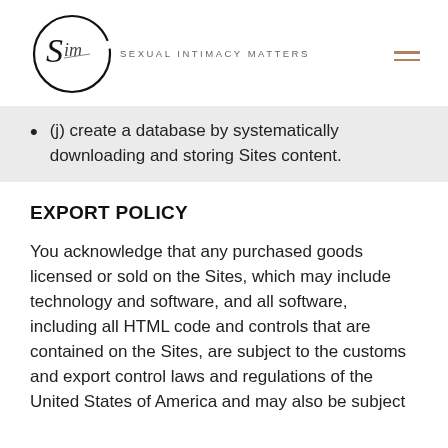Sexual Intimacy Matters
(j) create a database by systematically downloading and storing Sites content.
EXPORT POLICY
You acknowledge that any purchased goods licensed or sold on the Sites, which may include technology and software, and all software, including all HTML code and controls that are contained on the Sites, are subject to the customs and export control laws and regulations of the United States of America and may also be subject